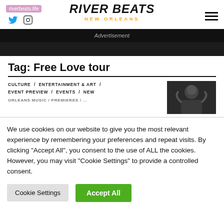riverbeats.life — River Beats New Orleans
Advertisement
Tag: Free Love tour
CULTURE / ENTERTAINMENT & ART / EVENT PREVIEW / EVENTS / NEW
[Figure (photo): Black and white photo of a person]
We use cookies on our website to give you the most relevant experience by remembering your preferences and repeat visits. By clicking "Accept All", you consent to the use of ALL the cookies. However, you may visit "Cookie Settings" to provide a controlled consent.
Cookie Settings | Accept All